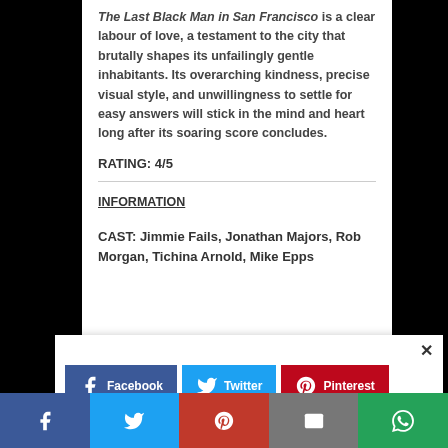The Last Black Man in San Francisco is a clear labour of love, a testament to the city that brutally shapes its unfailingly gentle inhabitants. Its overarching kindness, precise visual style, and unwillingness to settle for easy answers will stick in the mind and heart long after its soaring score concludes.
RATING: 4/5
INFORMATION
CAST: Jimmie Fails, Jonathan Majors, Rob Morgan, Tichina Arnold, Mike Epps
[Figure (screenshot): Social media share overlay with Facebook, Twitter, Pinterest buttons and a close (×) button, plus a partial second row of share buttons]
[Figure (screenshot): Bottom social sharing bar with Facebook, Twitter, Pinterest, Email, and WhatsApp icons]